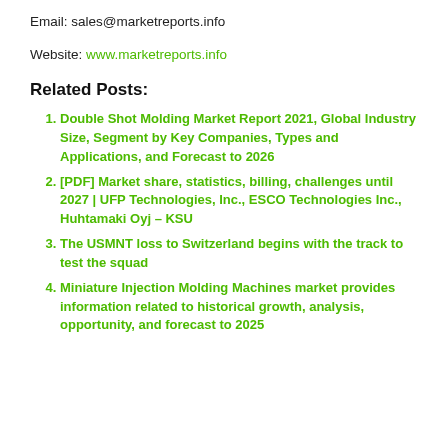Email: sales@marketreports.info
Website: www.marketreports.info
Related Posts:
Double Shot Molding Market Report 2021, Global Industry Size, Segment by Key Companies, Types and Applications, and Forecast to 2026
[PDF] Market share, statistics, billing, challenges until 2027 | UFP Technologies, Inc., ESCO Technologies Inc., Huhtamaki Oyj – KSU
The USMNT loss to Switzerland begins with the track to test the squad
Miniature Injection Molding Machines market provides information related to historical growth, analysis, opportunity, and forecast to 2025